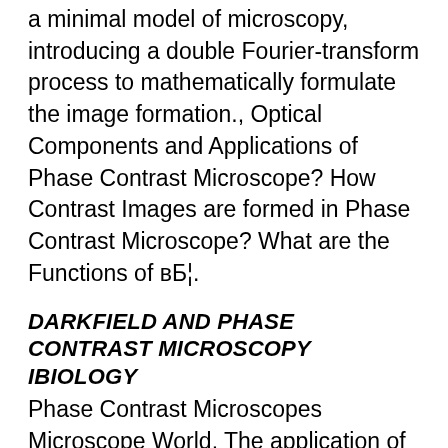a minimal model of microscopy, introducing a double Fourier-transform process to mathematically formulate the image formation., Optical Components and Applications of Phase Contrast Microscope? How Contrast Images are formed in Phase Contrast Microscope? What are the Functions of вБ¦.
DARKFIELD AND PHASE CONTRAST MICROSCOPY IBIOLOGY
Phase Contrast Microscopes Microscope World. The application of phase microscopy., Loveland, R., Photomicrography: A Comprehensive Treatise, Vol. II, Krieger Publishing Co., Malabar, Florida, 540-554 (1981). Phase contrast microscopy., Marmasse, C., Microscopes and